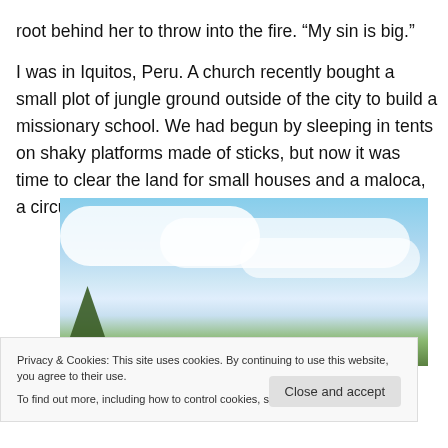root behind her to throw into the fire. “My sin is big.”
I was in Iquitos, Peru. A church recently bought a small plot of jungle ground outside of the city to build a missionary school. We had begun by sleeping in tents on shaky platforms made of sticks, but now it was time to clear the land for small houses and a maloca, a circular hut for meetings.
[Figure (photo): Outdoor jungle scene with blue sky and white clouds, trees visible on left side]
Privacy & Cookies: This site uses cookies. By continuing to use this website, you agree to their use.
To find out more, including how to control cookies, see here: Cookie Policy
Close and accept